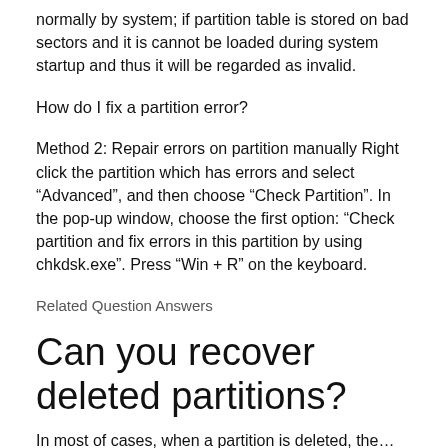normally by system; if partition table is stored on bad sectors and it is cannot be loaded during system startup and thus it will be regarded as invalid.
How do I fix a partition error?
Method 2: Repair errors on partition manually Right click the partition which has errors and select “Advanced”, and then choose “Check Partition”. In the pop-up window, choose the first option: “Check partition and fix errors in this partition by using chkdsk.exe”. Press “Win + R” on the keyboard.
Related Question Answers
Can you recover deleted partitions?
In most of cases, when a partition is deleted, the…